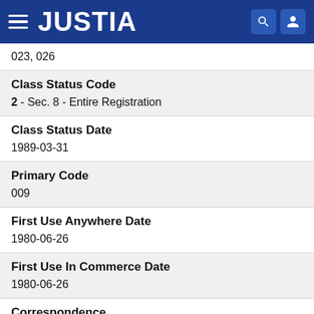JUSTIA
023, 026
Class Status Code
2 - Sec. 8 - Entire Registration
Class Status Date
1989-03-31
Primary Code
009
First Use Anywhere Date
1980-06-26
First Use In Commerce Date
1980-06-26
Correspondence